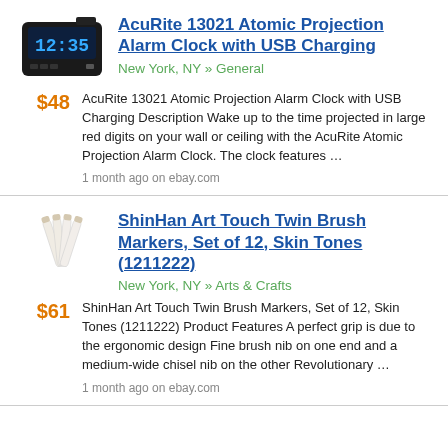[Figure (photo): Black digital alarm clock showing 12:35]
AcuRite 13021 Atomic Projection Alarm Clock with USB Charging
New York, NY » General
$48
AcuRite 13021 Atomic Projection Alarm Clock with USB Charging Description Wake up to the time projected in large red digits on your wall or ceiling with the AcuRite Atomic Projection Alarm Clock. The clock features …
1 month ago on ebay.com
[Figure (photo): White art markers/brush pens set]
ShinHan Art Touch Twin Brush Markers, Set of 12, Skin Tones (1211222)
New York, NY » Arts & Crafts
$61
ShinHan Art Touch Twin Brush Markers, Set of 12, Skin Tones (1211222) Product Features A perfect grip is due to the ergonomic design Fine brush nib on one end and a medium-wide chisel nib on the other Revolutionary …
1 month ago on ebay.com